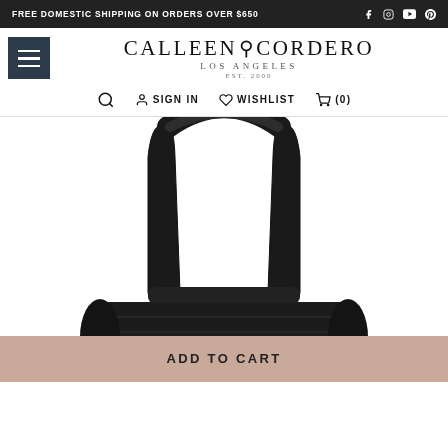FREE DOMESTIC SHIPPING ON ORDERS OVER $650
[Figure (logo): Calleen Cordero Los Angeles Est. 2000 brand logo with ring graphic]
SIGN IN   WISHLIST   (0)
[Figure (photo): Black textured leather handbag with arched top handle, photographed from above showing the handle and top portion of the bag]
ADD TO CART